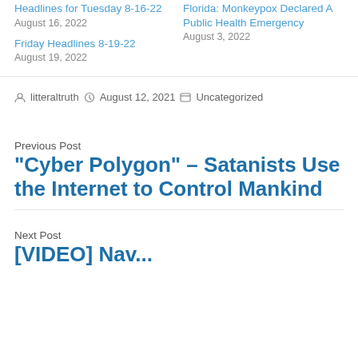Headlines for Tuesday 8-16-22
August 16, 2022
Florida: Monkeypox Declared A Public Health Emergency
August 3, 2022
Friday Headlines 8-19-22
August 19, 2022
By litteraltruth  August 12, 2021  Uncategorized
Previous Post
“Cyber Polygon” – Satanists Use the Internet to Control Mankind
Next Post
[VIDEO] Nev...